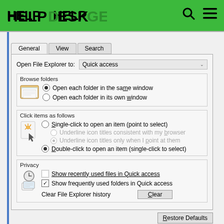HELP DESK GEEK
[Figure (screenshot): Windows File Explorer Options dialog showing General tab with Browse folders, Click items, and Privacy sections]
Open File Explorer to: Quick access
Browse folders
Open each folder in the same window
Open each folder in its own window
Click items as follows
Single-click to open an item (point to select)
Underline icon titles consistent with my browser
Underline icon titles only when I point at them
Double-click to open an item (single-click to select)
Privacy
Show recently used files in Quick access
Show frequently used folders in Quick access
Clear File Explorer history
Restore Defaults